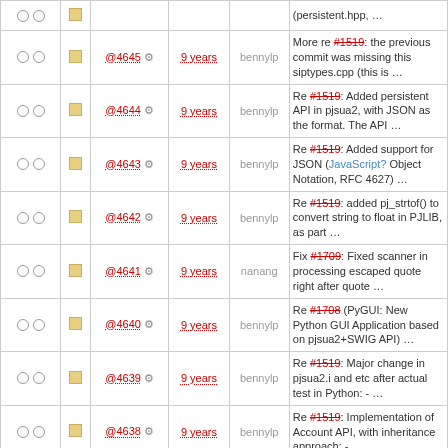|  |  | Rev | Age | Author | Message |
| --- | --- | --- | --- | --- | --- |
|  |  | @4645 | 9 years | bennylp | More re #1519: the previous commit was missing this siptypes.cpp (this is ... |
|  |  | @4644 | 9 years | bennylp | Re #1519: Added persistent API in pjsua2, with JSON as the format. The API ... |
|  |  | @4643 | 9 years | bennylp | Re #1519: Added support for JSON (JavaScript? Object Notation, RFC 4627) ... |
|  |  | @4642 | 9 years | bennylp | Re #1519: added pj_strtof() to convert string to float in PJLIB, as part ... |
|  |  | @4641 | 9 years | nanang | Fix #1709: Fixed scanner in processing escaped quote right after quote ... |
|  |  | @4640 | 9 years | bennylp | Re #1708 (PyGUI: New Python GUI Application based on pjsua2+SWIG API) ... |
|  |  | @4639 | 9 years | bennylp | Re #1519: Major change in pjsua2.i and etc after actual test in Python: - ... |
|  |  | @4638 | 9 years | bennylp | Re #1519: Implementation of Account API, with inheritance approach: - ... |
|  |  | @4637 | 9 years | ming | Re #1630 (misc): Use the right compiler and flags to compile C++ (.cpp) ... |
|  |  | @4636 | 9 years | ming | Re #1697: Removed extra spaces in aconfigure.ac |